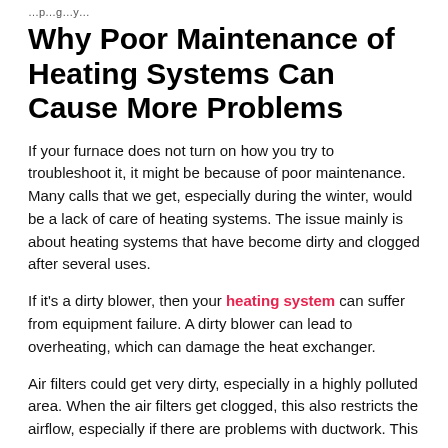…p…g…y…
Why Poor Maintenance of Heating Systems Can Cause More Problems
If your furnace does not turn on how you try to troubleshoot it, it might be because of poor maintenance. Many calls that we get, especially during the winter, would be a lack of care of heating systems. The issue mainly is about heating systems that have become dirty and clogged after several uses.
If it's a dirty blower, then your heating system can suffer from equipment failure. A dirty blower can lead to overheating, which can damage the heat exchanger.
Air filters could get very dirty, especially in a highly polluted area. When the air filters get clogged, this also restricts the airflow, especially if there are problems with ductwork. This